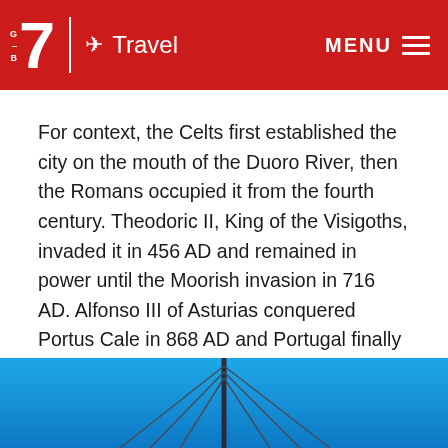G 7 Travel MENU
For context, the Celts first established the city on the mouth of the Duoro River, then the Romans occupied it from the fourth century. Theodoric II, King of the Visigoths, invaded it in 456 AD and remained in power until the Moorish invasion in 716 AD. Alfonso III of Asturias conquered Portus Cale in 868 AD and Portugal finally emerged as a unified political entity. In 1096 AD, Porto became the capital of the country.
[Figure (photo): Blue sky background with a bridge cable structure visible at the bottom of the image.]